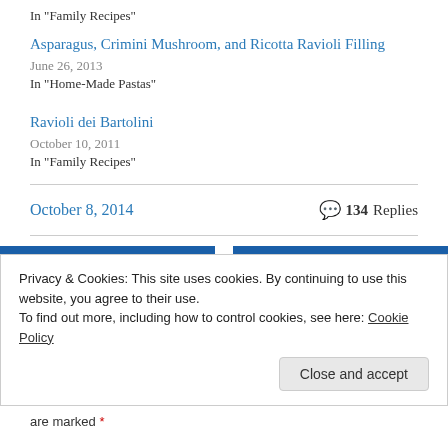In "Family Recipes"
Asparagus, Crimini Mushroom, and Ricotta Ravioli Filling
June 26, 2013
In "Home-Made Pastas"
Ravioli dei Bartolini
October 10, 2011
In "Family Recipes"
October 8, 2014   💬 134 Replies
Privacy & Cookies: This site uses cookies. By continuing to use this website, you agree to their use. To find out more, including how to control cookies, see here: Cookie Policy
Close and accept
are marked *